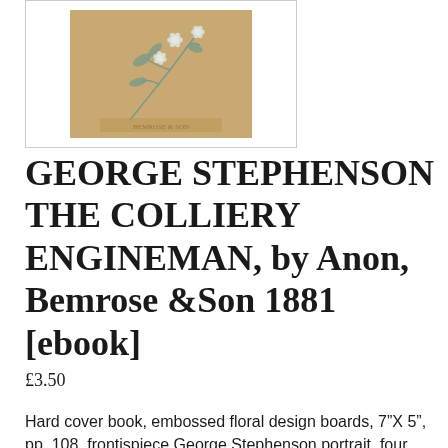[Figure (photo): Photograph of a hardcover book with an embossed floral design on the cover in tan/brown tones with pale blue-grey flowers and leaves.]
GEORGE STEPHENSON THE COLLIERY ENGINEMAN, by Anon, Bemrose &Son 1881 [ebook]
£3.50
Hard cover book, embossed floral design boards, 7"X 5", pp. 108, frontispiece George Stephenson portrait, four vignette illustrations